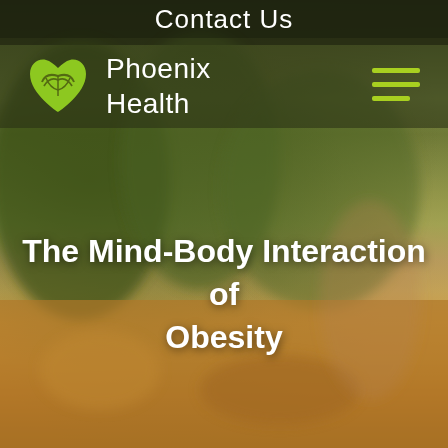Contact Us
[Figure (logo): Phoenix Health logo — green heart with wing/hand motif, with text 'Phoenix Health' in white]
The Mind-Body Interaction of Obesity
[Figure (photo): Background photo of a woman in a field holding a baby/toddler on her shoulders, surrounded by golden wildflowers and blurred green trees]